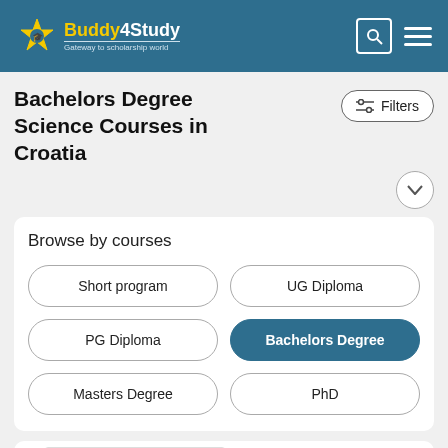Buddy4Study - Gateway to scholarship world
Bachelors Degree Science Courses in Croatia
Filters
Browse by courses
Short program
UG Diploma
PG Diploma
Bachelors Degree
Masters Degree
PhD
[Figure (logo): Faculty of Economics and Business logo]
Request Counselling